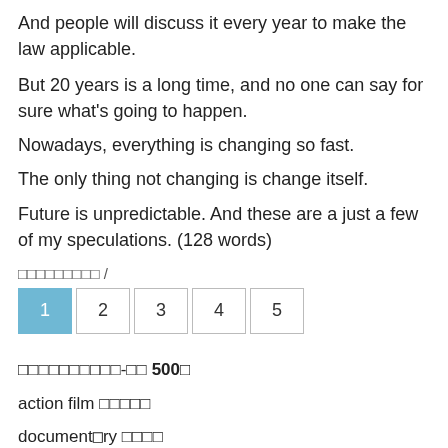And people will discuss it every year to make the law applicable.
But 20 years is a long time, and no one can say for sure what's going to happen.
Nowadays, everything is changing so fast.
The only thing not changing is change itself.
Future is unpredictable. And these are a just a few of my speculations. (128 words)
□□□□□□□□□ /
Pagination: 1 (active), 2, 3, 4, 5
□□□□□□□□□□-□□ 500□
action film □□□□□
document□ry □□□□
kungfu film □□□□